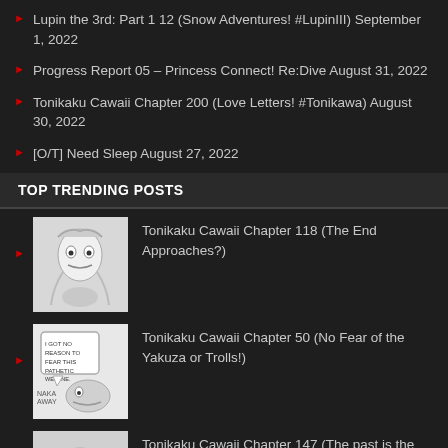Lupin the 3rd: Part 1 12 (Snow Adventures! #LupinIII) September 1, 2022
Progress Report 05 – Princess Connect! Re:Dive August 31, 2022
Tonikaku Cawaii Chapter 200 (Love Letters! #Tonikawa) August 30, 2022
[O/T] Need Sleep August 27, 2022
TOP TRENDING POSTS
Tonikaku Cawaii Chapter 118 (The End Approaches?)
Tonikaku Cawaii Chapter 50 (No Fear of the Yakuza or Trolls!)
Tonikaku Cawaii Chapter 147 (The past is the past.)